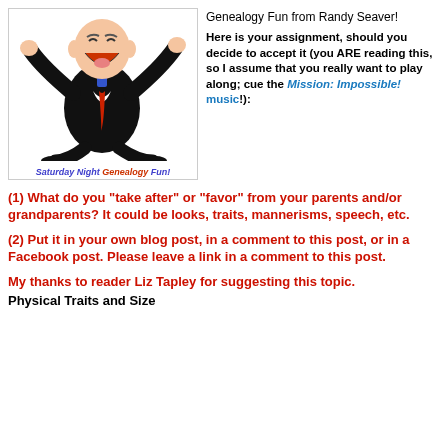[Figure (illustration): Cartoon of a man in a black suit with red tie, arms raised and mouth open, appearing excited. Below the cartoon is a caption reading 'Saturday Night Genealogy Fun!']
Genealogy Fun from Randy Seaver!
Here is your assignment, should you decide to accept it (you ARE reading this, so I assume that you really want to play along; cue the Mission: Impossible! music!):
(1) What do you "take after" or "favor" from your parents and/or grandparents?  It could be looks, traits, mannerisms, speech, etc.
(2) Put it in your own blog post, in a comment to this post, or in a Facebook post.  Please leave a link in a comment to this post.
My thanks to reader Liz Tapley for suggesting this topic.
Physical Traits and Size